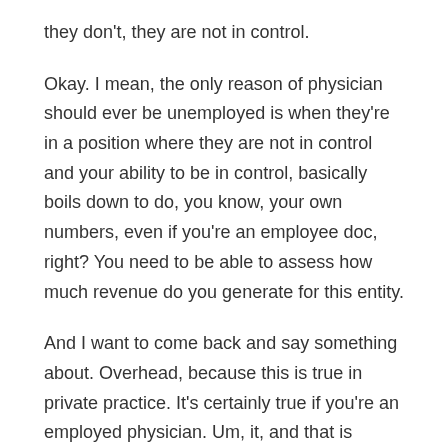they don't, they are not in control.
Okay. I mean, the only reason of physician should ever be unemployed is when they're in a position where they are not in control and your ability to be in control, basically boils down to do, you know, your own numbers, even if you're an employee doc, right? You need to be able to assess how much revenue do you generate for this entity.
And I want to come back and say something about. Overhead, because this is true in private practice. It's certainly true if you're an employed physician. Um, it, and that is everybody is focused on how much is the overhead. And the reason that I'm not making enough